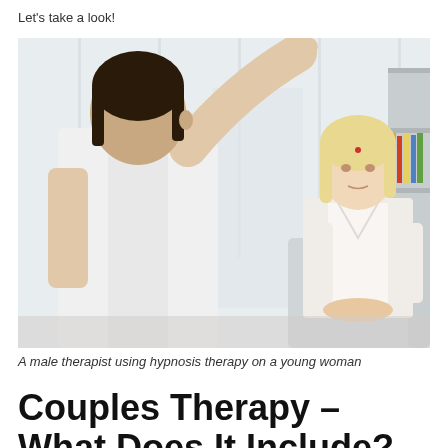Let's take a look!
[Figure (photo): A male therapist standing and raising his arm toward a seated young blonde woman in a white chair, appearing to perform hypnosis therapy in a clinical setting.]
A male therapist using hypnosis therapy on a young woman
Couples Therapy – What Does It Include?